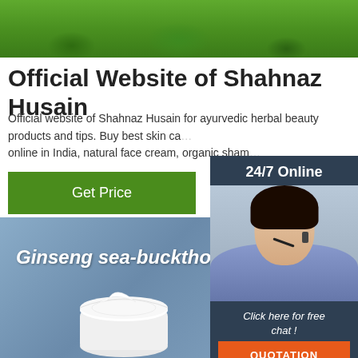[Figure (photo): Green grass background photo at the top of the page]
Official Website of Shahnaz Husain
Official website of Shahnaz Husain for ayurvedic herbal beauty products and tips. Buy best skin care online in India, natural face cream, organic sham…
Get Price
[Figure (photo): Customer service woman with headset, 24/7 Online overlay panel with Click here for free chat and QUOTATION button]
[Figure (photo): Product banner with blue-grey background showing Ginseng sea-buckthorn cream jar and TOP logo]